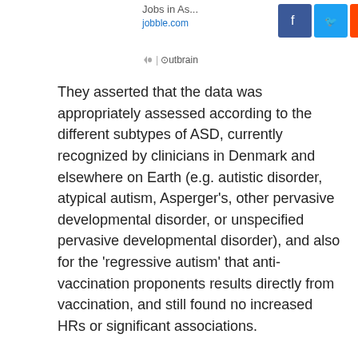[Figure (screenshot): Social media sharing icons (Facebook, Twitter, Reddit, Pinterest, orange icon) and jobble.com / Outbrain promotional header area]
They asserted that the data was appropriately assessed according to the different subtypes of ASD, currently recognized by clinicians in Denmark and elsewhere on Earth (e.g. autistic disorder, atypical autism, Asperger's, other pervasive developmental disorder, or unspecified pervasive developmental disorder), and also for the 'regressive autism' that anti-vaccination proponents results directly from vaccination, and still found no increased HRs or significant associations.
On the other hand, it should be noted that this group was, in fact, funded by Novo Nordisk, a pharmaceutical company that is involved in vaccine research and production in Europe. This, then, could be considered a conflict of interest (one that is patently outlined in the text of their paper on this study published in the Annals of Internal Medicine).
In addition, the researchers acknowledge that the actual